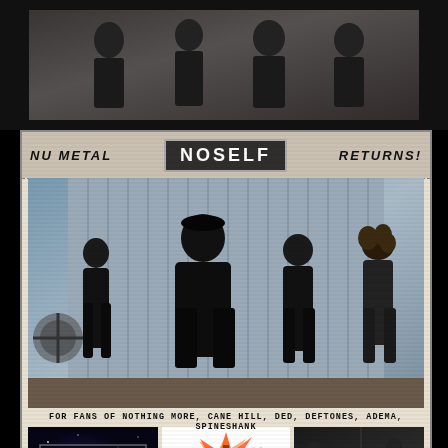[Figure (photo): Top band photo strip showing musicians against dark background]
NU METAL
[Figure (logo): NOSELF band logo in metal style box]
RETURNS!
[Figure (photo): Main band photo showing four members of NOSELF standing against corrugated metal wall, industrial setting]
FOR FANS OF NOTHING MORE, CANE HILL, DED, DEFTONES, ADEMA, SPINESHANK
[Figure (photo): NOSELF Human-Cyborg Relations Episode 1 album/EP cover with space background]
Human-Cyborg Relations Episode 1
[Figure (logo): Zombie Shark Records colorful logo]
[Figure (photo): Music video still showing band performing in studio/warehouse setting]
WATCH THE MUSIC VIDEO FOR THE SONG "FRISCO"